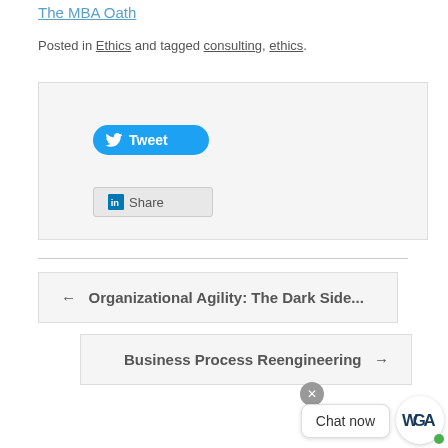The MBA Oath
Posted in Ethics and tagged consulting, ethics.
[Figure (screenshot): Social sharing widget box with Tweet button and LinkedIn Share button on a light grey background]
← Organizational Agility: The Dark Side...
Business Process Reengineering →
[Figure (screenshot): Chat widget with close button, Chat now bubble, and WGA logo with green dot]